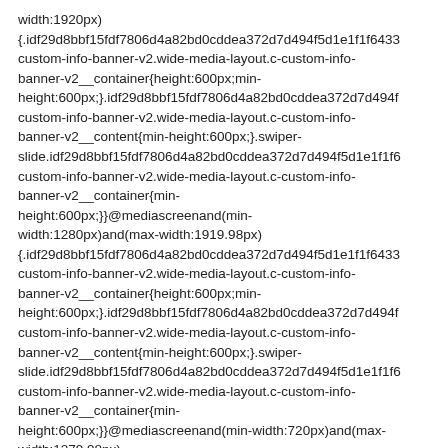width:1920px){.idf29d8bbf15fdf7806d4a82bd0cddea372d7d494f5d1e1f1f6433 custom-info-banner-v2.wide-media-layout.c-custom-info-banner-v2__container{height:600px;min-height:600px;}.idf29d8bbf15fdf7806d4a82bd0cddea372d7d494f custom-info-banner-v2.wide-media-layout.c-custom-info-banner-v2__content{min-height:600px;}.swiper-slide.idf29d8bbf15fdf7806d4a82bd0cddea372d7d494f5d1e1f1f6 custom-info-banner-v2.wide-media-layout.c-custom-info-banner-v2__container{min-height:600px;}}@mediascreenand(min-width:1280px)and(max-width:1919.98px){.idf29d8bbf15fdf7806d4a82bd0cddea372d7d494f5d1e1f1f6433 custom-info-banner-v2.wide-media-layout.c-custom-info-banner-v2__container{height:600px;min-height:600px;}.idf29d8bbf15fdf7806d4a82bd0cddea372d7d494f custom-info-banner-v2.wide-media-layout.c-custom-info-banner-v2__content{min-height:600px;}.swiper-slide.idf29d8bbf15fdf7806d4a82bd0cddea372d7d494f5d1e1f1f6 custom-info-banner-v2.wide-media-layout.c-custom-info-banner-v2__container{min-height:600px;}}@mediascreenand(min-width:720px)and(max-width:1279.98px){.idf29d8bbf15fdf7806d4a82bd0cddea372d7d494f5d1e1f1f6433 custom-info-banner-v2.wide-media-layout.c-custom-info-banner-v2__container{height:500px;min-height:500px;}.idf29d8bbf15fdf7806d4a82bd0cddea372d7d494f custom-info-banner-v2.wide-media-layout.c-custom-info-